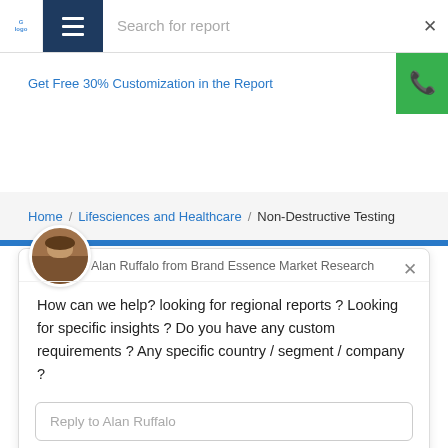Search for report
Get Free 30% Customization in the Report
Home / Lifesciences and Healthcare / Non-Destructive Testing
Alan Ruffalo from Brand Essence Market Research
How can we help? looking for regional reports ? Looking for specific insights ? Do you have any custom requirements ? Any specific country / segment / company ?
Reply to Alan Ruffalo
Chat ⚡ by Drift